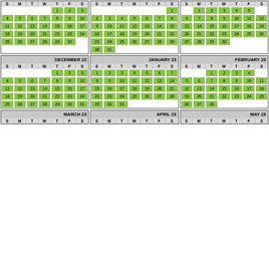[Figure (infographic): Calendar grid showing months: top row (unnamed green calendars Nov-like, Dec-like, Apr-like), middle row DECEMBER 22, JANUARY 23, FEBRUARY 23, bottom row partial MARCH 23, APRIL 23, MAY 23]
| S | M | T | W | T | F | S |
| --- | --- | --- | --- | --- | --- | --- |
|  |  |  |  | 1 | 2 | 3 |
| 4 | 5 | 6 | 7 | 8 | 9 | 10 |
| 11 | 12 | 13 | 14 | 15 | 16 | 17 |
| 18 | 19 | 20 | 21 | 22 | 23 | 24 |
| 25 | 26 | 27 | 28 | 29 | 30 |  |
| S | M | T | W | T | F | S |
| --- | --- | --- | --- | --- | --- | --- |
|  |  |  |  |  |  | 1 |
| 2 | 3 | 4 | 5 | 6 | 7 | 8 |
| 9 | 10 | 11 | 12 | 13 | 14 | 15 |
| 16 | 17 | 18 | 19 | 20 | 21 | 22 |
| 23 | 24 | 25 | 26 | 27 | 28 | 29 |
| 30 | 31 |  |  |  |  |  |
| S | M | T | W | T | F | S |
| --- | --- | --- | --- | --- | --- | --- |
|  | 1 | 2 | 3 | 4 | 5 |  |
| 6 | 7 | 8 | 9 | 10 | 11 | 12 |
| 13 | 14 | 15 | 16 | 17 | 18 | 19 |
| 20 | 21 | 22 | 23 | 24 | 25 | 26 |
| 27 | 28 | 29 | 30 |  |  |  |
| S | M | T | W | T | F | S |
| --- | --- | --- | --- | --- | --- | --- |
|  |  |  |  | 1 | 2 | 3 |
| 4 | 5 | 6 | 7 | 8 | 9 | 10 |
| 11 | 12 | 13 | 14 | 15 | 16 | 17 |
| 18 | 19 | 20 | 21 | 22 | 23 | 24 |
| 25 | 26 | 27 | 28 | 29 | 30 | 31 |
| S | M | T | W | T | F | S |
| --- | --- | --- | --- | --- | --- | --- |
| 1 | 2 | 3 | 4 | 5 | 6 | 7 |
| 8 | 9 | 10 | 11 | 12 | 13 | 14 |
| 15 | 16 | 17 | 18 | 19 | 20 | 21 |
| 22 | 23 | 24 | 25 | 26 | 27 | 28 |
| 29 | 30 | 31 |  |  |  |  |
| S | M | T | W | T | F | S |
| --- | --- | --- | --- | --- | --- | --- |
|  |  | 1 | 2 | 3 | 4 |  |
| 5 | 6 | 7 | 8 | 9 | 10 | 11 |
| 12 | 13 | 14 | 15 | 16 | 17 | 18 |
| 19 | 20 | 21 | 22 | 23 | 24 | 25 |
| 26 | 27 | 28 |  |  |  |  |
MARCH 23
APRIL 23
MAY 23